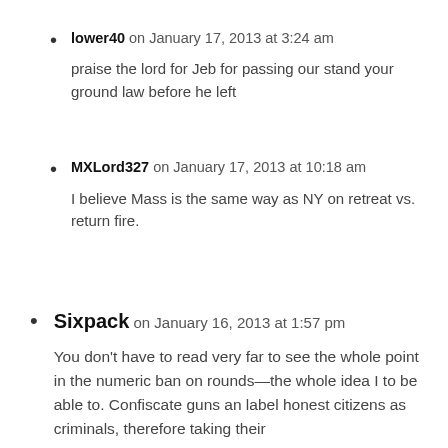lower40 on January 17, 2013 at 3:24 am
praised the lord for Jeb for passing our stand your ground law before he left
MXLord327 on January 17, 2013 at 10:18 am
I believe Mass is the same way as NY on retreat vs. return fire.
Sixpack on January 16, 2013 at 1:57 pm
You don't have to read very far to see the whole point in the numeric ban on rounds—the whole idea I to be able to. Confiscate guns an label honest citizens as criminals, therefore taking their